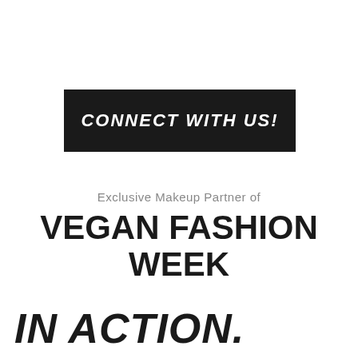CONNECT WITH US!
Exclusive Makeup Partner of
VEGAN FASHION WEEK
IN ACTION.